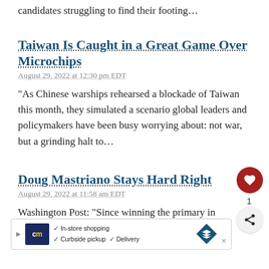candidates struggling to find their footing…
Taiwan Is Caught in a Great Game Over Microchips
August 29, 2022 at 12:30 pm EDT
“As Chinese warships rehearsed a blockade of Taiwan this month, they simulated a scenario global leaders and policymakers have been busy worrying about: not war, but a grinding halt to…
Doug Mastriano Stays Hard Right
August 29, 2022 at 11:58 am EDT
Washington Post: “Since winning the primary in May 44% of the vote — after snagging a last-minute endorsement from Trump and su…
[Figure (infographic): Advertisement bar: CM logo, In-store shopping, Curbside pickup, Delivery options, navigation icon]